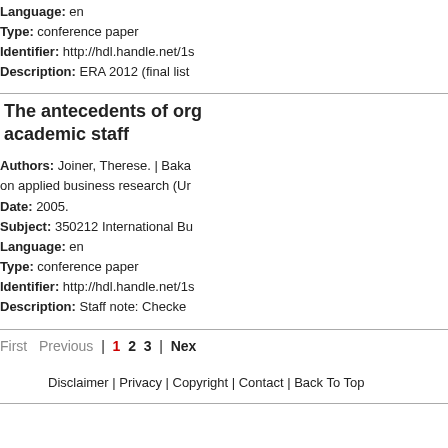Language: en
Type: conference paper
Identifier: http://hdl.handle.net/1...
Description: ERA 2012 (final list...
The antecedents of org... academic staff
Authors: Joiner, Therese. | Baka... on applied business research (Un...
Date: 2005.
Subject: 350212 International Bu...
Language: en
Type: conference paper
Identifier: http://hdl.handle.net/1...
Description: Staff note: Checke...
First Previous | 1 2 3 | Nex...
Disclaimer | Privacy | Copyright | Contact | Back To Top